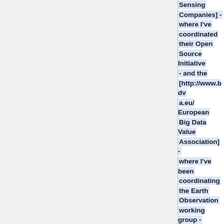Sensing Companies] - where I've coordinated their Open Source Initiative - and the [http://www.bdva.eu/ European Big Data Value Association] - where I've been coordinating the Earth Observation working group - as well as working in various projects with institutions such as the European Space Agency,